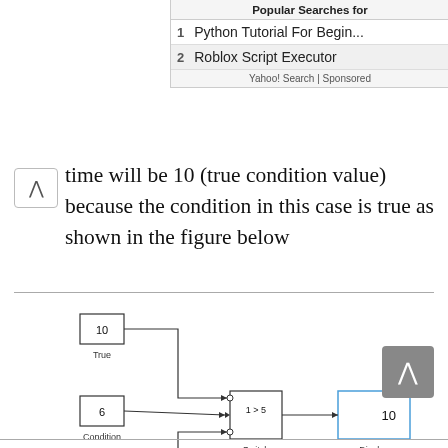[Figure (screenshot): Ad banner: Popular Searches for, 1 Python Tutorial For Beginners, 2 Roblox Script Executor, Yahoo! Search | Sponsored]
time will be 10 (true condition value) because the condition in this case is true as shown in the figure below
[Figure (schematic): Simulink block diagram showing: True block (value 10), Condition block (value 6), False block (value 0), Switch block (1>5), Display block (showing 10). Lines connect True and False to top/bottom inputs of Switch, Condition to middle input of Switch, and Switch output to Display.]